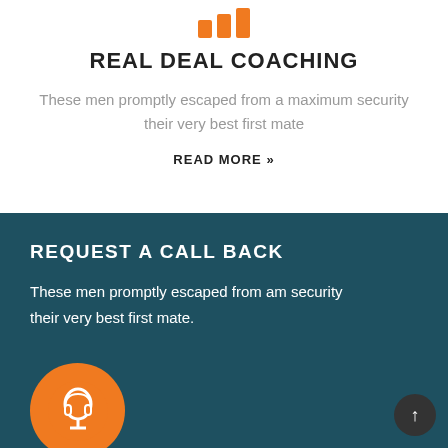[Figure (logo): Orange bar chart logo icon with three ascending bars]
REAL DEAL COACHING
These men promptly escaped from a maximum security their very best first mate
READ MORE »
REQUEST A CALL BACK
These men promptly escaped from am security their very best first mate.
[Figure (illustration): Orange circle with headphone/lightbulb icon]
[Figure (other): Dark circular scroll-to-top button with upward arrow]